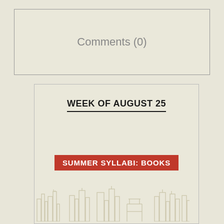Comments (0)
WEEK OF AUGUST 25
SUMMER SYLLABI: BOOKS
[Figure (illustration): Outline skyline of buildings at the bottom of the week box]